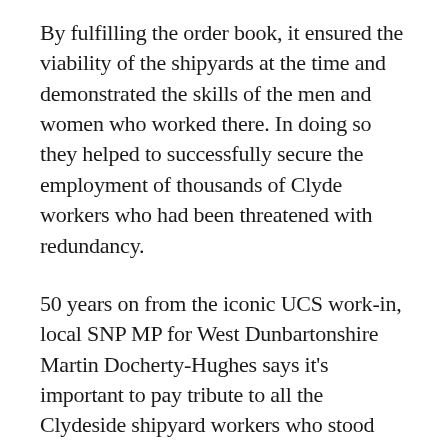By fulfilling the order book, it ensured the viability of the shipyards at the time and demonstrated the skills of the men and women who worked there. In doing so they helped to successfully secure the employment of thousands of Clyde workers who had been threatened with redundancy.
50 years on from the iconic UCS work-in, local SNP MP for West Dunbartonshire Martin Docherty-Hughes says it's important to pay tribute to all the Clydeside shipyard workers who stood firm in defiance of a hostile Tory government.
Martin Docherty-Hughes MP said: